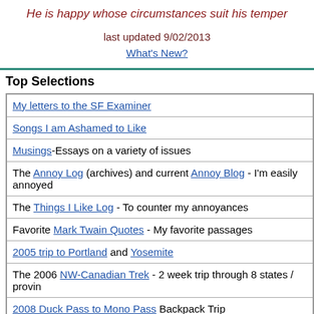He is happy whose circumstances suit his temper
last updated 9/02/2013
What's New?
Top Selections
My letters to the SF Examiner
Songs I am Ashamed to Like
Musings-Essays on a variety of issues
The Annoy Log (archives) and current Annoy Blog - I'm easily annoyed
The Things I Like Log - To counter my annoyances
Favorite Mark Twain Quotes - My favorite passages
2005 trip to Portland and Yosemite
The 2006 NW-Canadian Trek - 2 week trip through 8 states / provinces
2008 Duck Pass to Mono Pass Backpack Trip